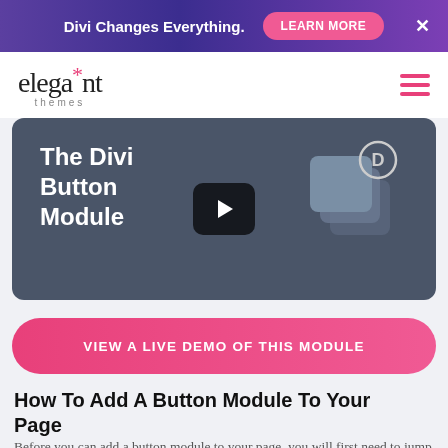Divi Changes Everything.  LEARN MORE  ×
[Figure (logo): Elegant Themes logo with asterisk and hamburger menu icon]
[Figure (screenshot): Video thumbnail showing 'The Divi Button Module' with a play button and Divi stacked cards logo on dark blue-grey background]
VIEW A LIVE DEMO OF THIS MODULE
How To Add A Button Module To Your Page
Before you can add a button module to your page, you will first need to jump into the Divi Builder. Once the